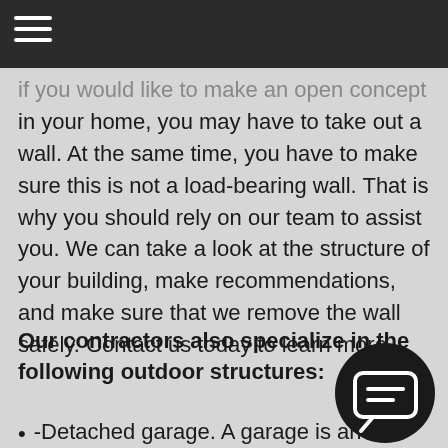in your home, you may have to take out a wall. At the same time, you have to make sure this is not a load-bearing wall. That is why you should rely on our team to assist you. We can take a look at the structure of your building, make recommendations, and make sure that we remove the wall safely. Contact us today to learn more.
Our contractors also specialize in the following outdoor structures:
-Detached garage. A garage is an essential part of your home – whet you use it for parking your car or storing other things. Professional